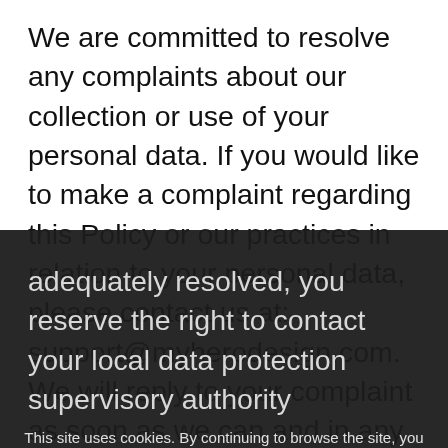We are committed to resolve any complaints about our collection or use of your personal data. If you would like to make a complaint regarding this Policy or our practices in relation to your personal data, please contact us at: support@myherodesign.com. We will reply to your complaint as soon as we can and in any event, within 30 days. We hope to resolve any complaint brought to our attention, however if you feel that your complaint has not been adequately resolved, you reserve the right to contact your local data protection supervisory authority
15. Contact Information
This site uses cookies. By continuing to browse the site, you are agreeing to our use of cookies.